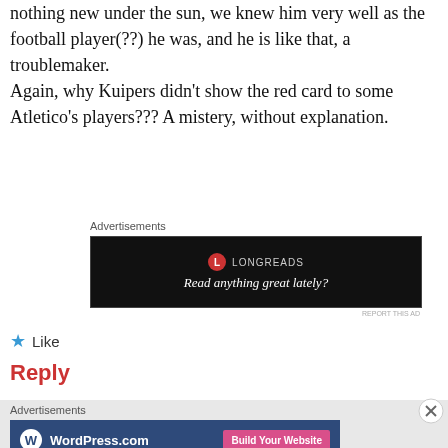nothing new under the sun, we knew him very well as the football player(??) he was, and he is like that, a troublemaker.
Again, why Kuipers didn't show the red card to some Atletico's players??? A mistery, without explanation.
Advertisements
[Figure (other): Longreads advertisement banner on black background with logo and text 'Read anything great lately?']
REPORT THIS AD
Like
Reply
Advertisements
[Figure (other): WordPress.com advertisement banner with blue background, WordPress logo, site name and 'Build Your Website' pink button]
REPORT THIS AD